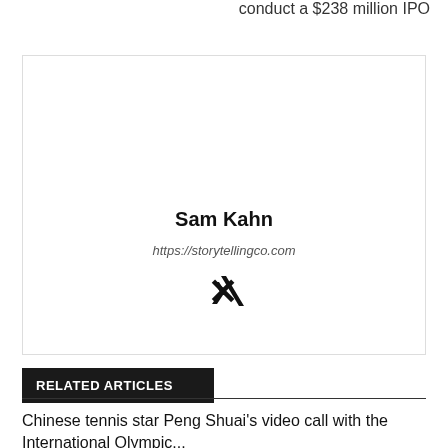conduct a $238 million IPO
[Figure (other): Author card with name Sam Kahn, website URL https://storytellingco.com, and a social media icon (Xing)]
RELATED ARTICLES
Chinese tennis star Peng Shuai's video call with the International Olympic...